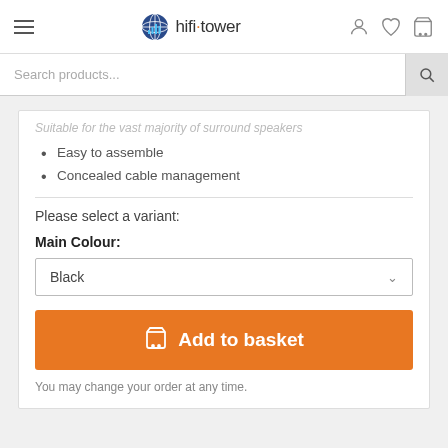[Figure (screenshot): hifi-tower website header with hamburger menu, globe logo, site name 'hifi tower', and icons for user account, wishlist, and shopping cart]
Search products...
Suitable for the vast majority of surround speakers
Easy to assemble
Concealed cable management
Please select a variant:
Main Colour:
Black
Add to basket
You may change your order at any time.